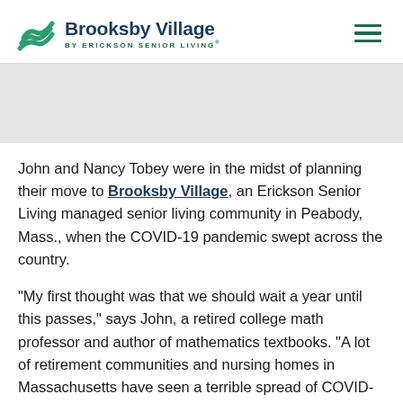Brooksby Village BY ERICKSON SENIOR LIVING®
[Figure (illustration): Grey banner/hero image area]
John and Nancy Tobey were in the midst of planning their move to Brooksby Village, an Erickson Senior Living managed senior living community in Peabody, Mass., when the COVID-19 pandemic swept across the country.
"My first thought was that we should wait a year until this passes," says John, a retired college math professor and author of mathematics textbooks. "A lot of retirement communities and nursing homes in Massachusetts have seen a terrible spread of COVID-19. But Brooksby Village has done a remarkable job taking the virus seriously and